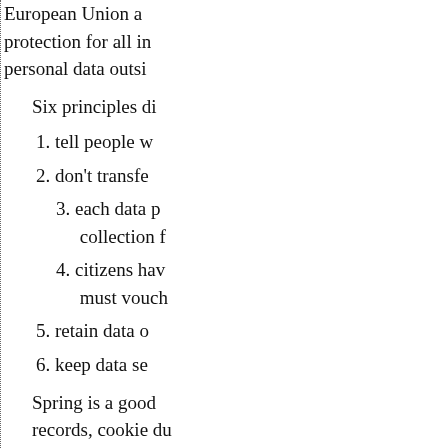European Union adequate protection for all individuals personal data outsid
Six principles di
1. tell people w
2. don't transfe
3. each data pe collection f
4. citizens hav must vouch
5. retain data o
6. keep data se
Spring is a good records, cookie du single sing-in, but